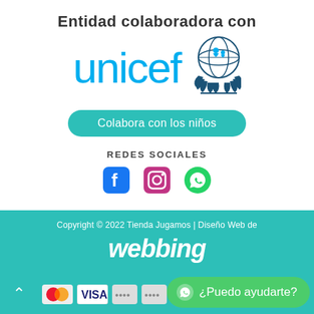Entidad colaboradora con
[Figure (logo): UNICEF logo with cyan 'unicef' text and blue UN emblem with globe and children silhouette surrounded by laurel wreath]
Colabora con los niños
REDES SOCIALES
[Figure (infographic): Three social media icons: Facebook (blue), Instagram (purple gradient), WhatsApp (green)]
Copyright © 2022 Tienda Jugamos | Diseño Web de
[Figure (logo): webbing logo in white italic bold text on teal background]
[Figure (infographic): Payment method logos: Mastercard, VISA, and others, plus a green WhatsApp chat bubble saying ¿Puedo ayudarte?]